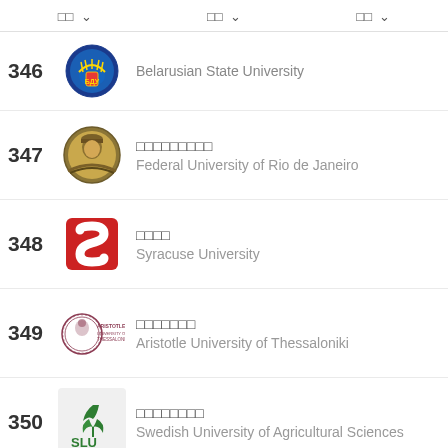□□  □□  □□
346 Belarusian State University
347 □□□□□□□□□ Federal University of Rio de Janeiro
348 □□□□ Syracuse University
349 □□□□□□□ Aristotle University of Thessaloniki
350 □□□□□□□□ Swedish University of Agricultural Sciences